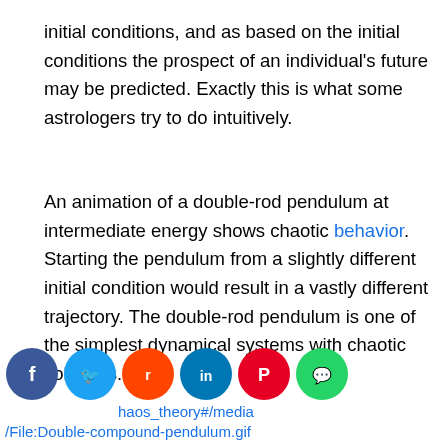initial conditions, and as based on the initial conditions the prospect of an individual's future may be predicted. Exactly this is what some astrologers try to do intuitively.
An animation of a double-rod pendulum at intermediate energy shows chaotic behavior. Starting the pendulum from a slightly different initial condition would result in a vastly different trajectory. The double-rod pendulum is one of the simplest dynamical systems with chaotic solutions.
[Figure (other): Row of social media sharing icons: Facebook (blue), Twitter (light blue), Reddit (orange), LinkedIn (dark blue), Pinterest (red), WhatsApp (green)]
https://en.wikipedia.org/wiki/Chaos_theory#/media/File:Double-compound-pendulum.gif